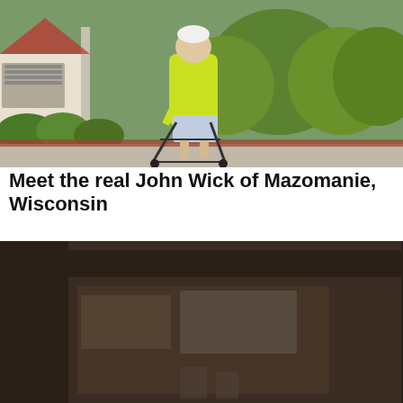[Figure (photo): Elderly man in a bright yellow-green hoodie and shorts walking with a rollator walker on a residential sidewalk, green bushes and a white house in the background.]
Meet the real John Wick of Mazomanie, Wisconsin
[Figure (screenshot): Cookie consent overlay on a news website showing a partially visible second photo (dark street scene), with text 'This website uses cookies to ensure you get the best experience on our website.', a link 'View Our Privacy Policy', and a blue 'Got it!' button.]